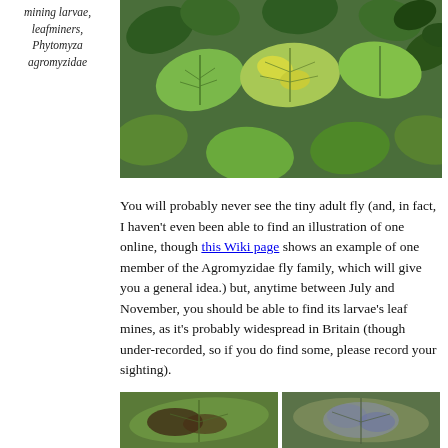mining larvae, leafminers, Phytomyza agromyzidae
[Figure (photo): Close-up photograph of green leaves showing leaf mining damage, yellowing patches on hazel or similar leaves]
You will probably never see the tiny adult fly (and, in fact, I haven't even been able to find an illustration of one online, though this Wiki page shows an example of one member of the Agromyzidae fly family, which will give you a general idea.) but, anytime between July and November, you should be able to find its larvae's leaf mines, as it's probably widespread in Britain (though under-recorded, so if you do find some, please record your sighting).
[Figure (photo): Close-up photo of a leaf showing brown leaf mine damage]
[Figure (photo): Close-up photo of a leaf showing blotch leaf mine with bluish-purple tones]